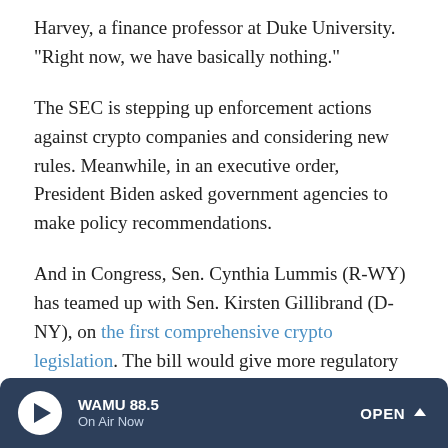Harvey, a finance professor at Duke University. "Right now, we have basically nothing."
The SEC is stepping up enforcement actions against crypto companies and considering new rules. Meanwhile, in an executive order, President Biden asked government agencies to make policy recommendations.
And in Congress, Sen. Cynthia Lummis (R-WY) has teamed up with Sen. Kirsten Gillibrand (D-NY), on the first comprehensive crypto legislation. The bill would give more regulatory authority to the Commodity Futures Trading Commission.
Still, for now, many analysts don't think the broader financial
WAMU 88.5 | On Air Now | OPEN